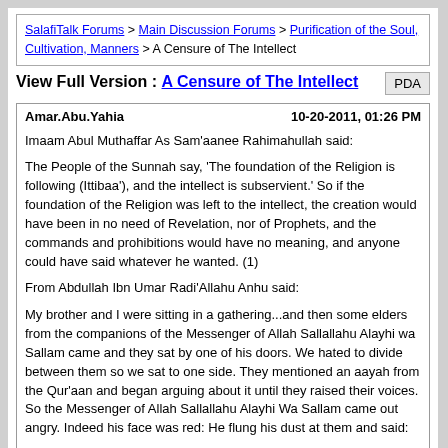SalafiTalk Forums > Main Discussion Forums > Purification of the Soul, Cultivation, Manners > A Censure of The Intellect
View Full Version : A Censure of The Intellect
PDA
Amar.Abu.Yahia   10-20-2011, 01:26 PM
Imaam Abul Muthaffar As Sam'aanee Rahimahullah said:

The People of the Sunnah say, 'The foundation of the Religion is following (Ittibaa'), and the intellect is subservient.' So if the foundation of the Religion was left to the intellect, the creation would have been in no need of Revelation, nor of Prophets, and the commands and prohibitions would have no meaning, and anyone could have said whatever he wanted. (1)

From Abdullah Ibn Umar Radi'Allahu Anhu said:

My brother and I were sitting in a gathering...and then some elders from the companions of the Messenger of Allah Sallallahu Alayhi wa Sallam came and they sat by one of his doors. We hated to divide between them so we sat to one side. They mentioned an aayah from the Qur'aan and began arguing about it until they raised their voices. So the Messenger of Allah Sallallahu Alayhi Wa Sallam came out angry. Indeed his face was red: He flung his dust at them and said:

Slow Down of my People! Nations befor you were destroyed because for this, due to their differing about their Prophets and due to their claims that parts of their books contradicted other Parts. Verily the Qur'aan was not sent down to contradict itself, rather it affirms itself. So whatever you know from it, then act upon it; and whatever you are ignorant of, then refer it to someone who is knowledgeable about it." (2)

Imaam Ahmad Rahimahullah said, "So we refer the Qur'aan to One who is